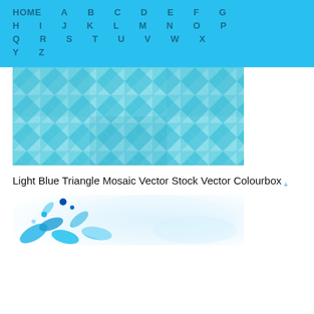HOME A B C D E F G H I J K L M N O P Q R S T U V W X Y Z
[Figure (illustration): Light blue triangle mosaic geometric pattern vector image]
Light Blue Triangle Mosaic Vector Stock Vector Colourbox .
[Figure (illustration): Blue floral swirl decorative vector illustration on white background]